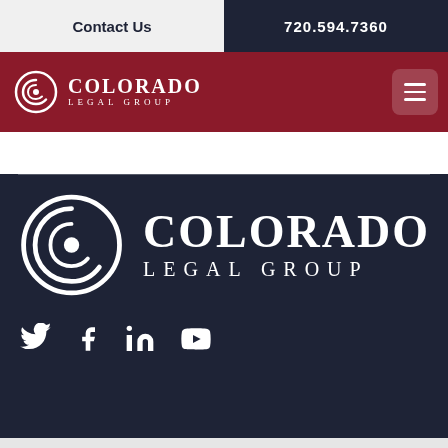Contact Us | 720.594.7360
[Figure (logo): Colorado Legal Group logo in navigation bar on dark red background]
[Figure (logo): Colorado Legal Group large white logo on dark navy background]
[Figure (infographic): Social media icons: Twitter, Facebook, LinkedIn, YouTube]
© 2022 Colorado Legal Group Privacy Policy Terms of use Site Design: FIREANT STUDIO